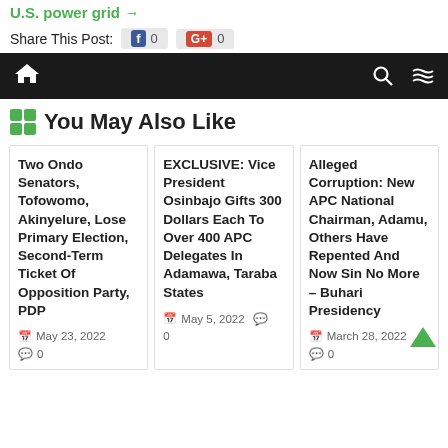U.S. power grid →
Share This Post:  0   0
🏠  🔍  ⇌
You May Also Like
Two Ondo Senators, Tofowomo, Akinyelure, Lose Primary Election, Second-Term Ticket Of Opposition Party, PDP
May 23, 2022
0
EXCLUSIVE: Vice President Osinbajo Gifts 300 Dollars Each To Over 400 APC Delegates In Adamawa, Taraba States
May 5, 2022
0
Alleged Corruption: New APC National Chairman, Adamu, Others Have Repented And Now Sin No More – Buhari Presidency
March 28, 2022
0